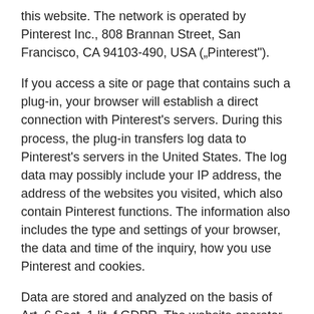this website. The network is operated by Pinterest Inc., 808 Brannan Street, San Francisco, CA 94103-490, USA („Pinterest").
If you access a site or page that contains such a plug-in, your browser will establish a direct connection with Pinterest's servers. During this process, the plug-in transfers log data to Pinterest's servers in the United States. The log data may possibly include your IP address, the address of the websites you visited, which also contain Pinterest functions. The information also includes the type and settings of your browser, the data and time of the inquiry, how you use Pinterest and cookies.
Data are stored and analyzed on the basis of Art. 6 Sect. 1 lit. f GDPR. The website operator has a legitimate interest in the highest possible visibility on social media. If a respective declaration of consent has been obtained, the data will be processed exclusively on the basis of Art. 6